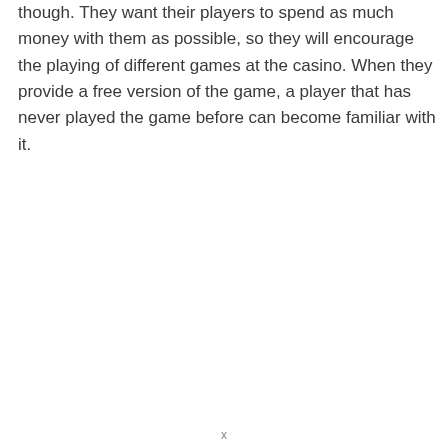though. They want their players to spend as much money with them as possible, so they will encourage the playing of different games at the casino. When they provide a free version of the game, a player that has never played the game before can become familiar with it.
x